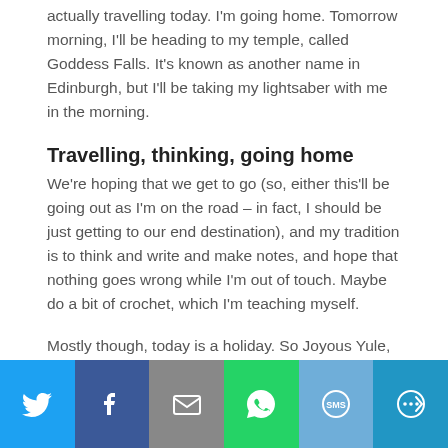actually travelling today. I'm going home. Tomorrow morning, I'll be heading to my temple, called Goddess Falls. It's known as another name in Edinburgh, but I'll be taking my lightsaber with me in the morning.
Travelling, thinking, going home
We're hoping that we get to go (so, either this'll be going out as I'm on the road – in fact, I should be just getting to our end destination), and my tradition is to think and write and make notes, and hope that nothing goes wrong while I'm out of touch. Maybe do a bit of crochet, which I'm teaching myself.
Mostly though, today is a holiday. So Joyous Yule, may the wheel bless you as it turns, if you celebrate. And Merry Christmas/Happy holidays too!
[Figure (infographic): Social sharing bar with icons for Twitter, Facebook, Email, WhatsApp, SMS, and More]